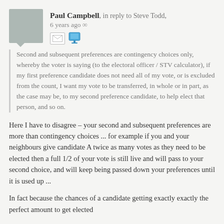Paul Campbell, in reply to Steve Todd, 6 years ago ∞
Second and subsequent preferences are contingency choices only, whereby the voter is saying (to the electoral officer / STV calculator), if my first preference candidate does not need all of my vote, or is excluded from the count, I want my vote to be transferred, in whole or in part, as the case may be, to my second preference candidate, to help elect that person, and so on.
Here I have to disagree – your second and subsequent preferences are more than contingency choices ... for example if you and your neighbours give candidate A twice as many votes as they need to be elected then a full 1/2 of your vote is still live and will pass to your second choice, and will keep being passed down your preferences until it is used up ...
In fact because the chances of a candidate getting exactly exactly the perfect amount to get elected